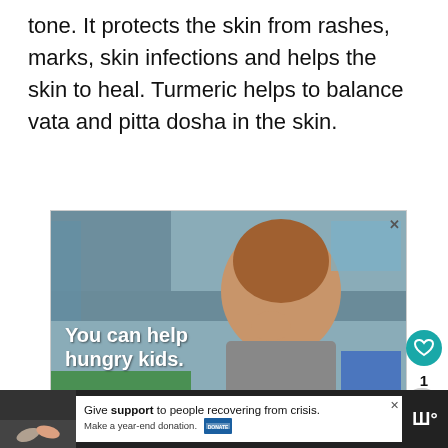tone. It protects the skin from rashes, marks, skin infections and helps the skin to heal. Turmeric helps to balance vata and pitta dosha in the skin.
[Figure (photo): Advertisement banner showing a young Asian boy eating something red, with text overlay 'You can help hungry kids.' and a orange bottom bar with 'LEARN HOW' button and No Kid Hungry logo]
[Figure (photo): Bottom advertisement bar on dark background showing two people holding hands on left side and a white ad panel with text: 'Give support to people recovering from crisis. Make a year-end donation.']